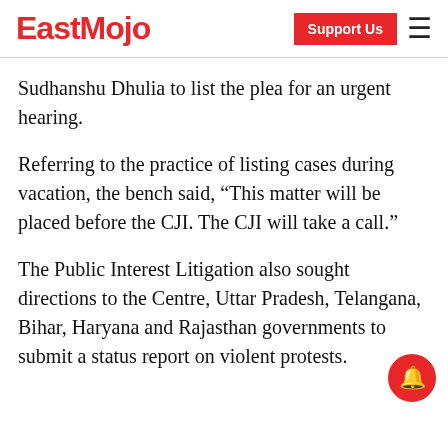EastMojo | Support Us
Sudhanshu Dhulia to list the plea for an urgent hearing.
Referring to the practice of listing cases during vacation, the bench said, “This matter will be placed before the CJI. The CJI will take a call.”
The Public Interest Litigation also sought directions to the Centre, Uttar Pradesh, Telangana, Bihar, Haryana and Rajasthan governments to submit a status report on violent protests.